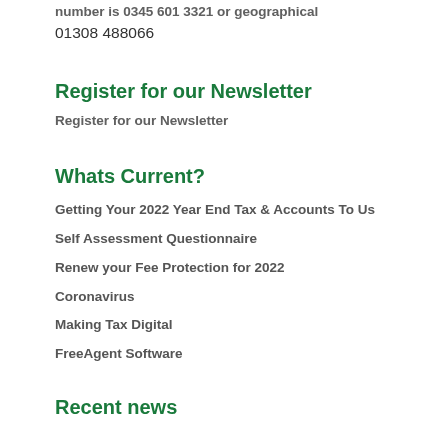number is 0345 601 3321 or geographical 01308 488066
Register for our Newsletter
Register for our Newsletter
Whats Current?
Getting Your 2022 Year End Tax & Accounts To Us
Self Assessment Questionnaire
Renew your Fee Protection for 2022
Coronavirus
Making Tax Digital
FreeAgent Software
Recent news